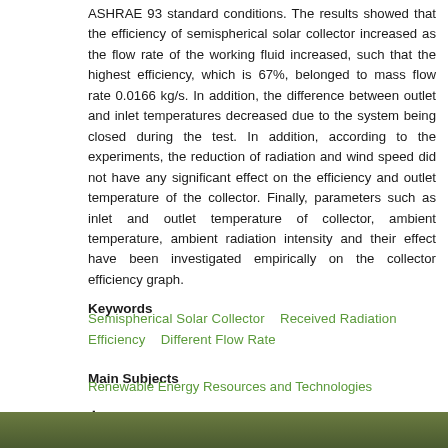ASHRAE 93 standard conditions. The results showed that the efficiency of semispherical solar collector increased as the flow rate of the working fluid increased, such that the highest efficiency, which is 67%, belonged to mass flow rate 0.0166 kg/s. In addition, the difference between outlet and inlet temperatures decreased due to the system being closed during the test. In addition, according to the experiments, the reduction of radiation and wind speed did not have any significant effect on the efficiency and outlet temperature of the collector. Finally, parameters such as inlet and outlet temperature of collector, ambient temperature, ambient radiation intensity and their effect have been investigated empirically on the collector efficiency graph.
Keywords
Semispherical Solar Collector   Received Radiation   Efficiency   Different Flow Rate
Main Subjects
Renewable Energy Resources and Technologies
+ References